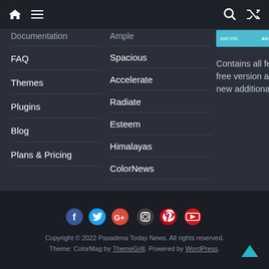Navigation bar with home, menu, search, and shuffle icons
Documentation
FAQ
Themes
Plugins
Blog
Plans & Pricing
Ample
Spacious
Accelerate
Radiate
Esteem
Himalayas
ColorNews
[Figure (infographic): Advertise here banner: 300x250 ad placeholder in cyan/teal]
Contains all features of free version and many new additional features.
[Figure (infographic): Social media icons row: Facebook, Twitter, Google+, Instagram, Pinterest, YouTube]
Copyright © 2022 Pasadena Today News. All rights reserved. Theme: ColorMag by ThemeGrill. Powered by WordPress.